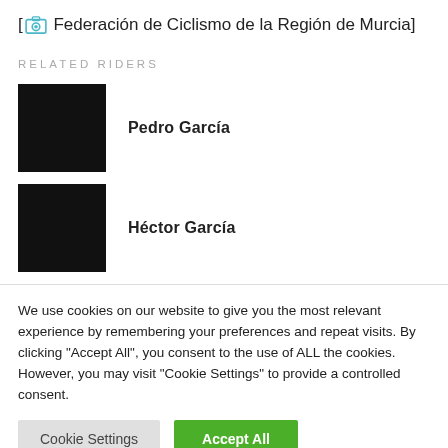[ Federación de Ciclismo de la Región de Murcia]
RELATED RIDERS
Pedro García
Héctor García
We use cookies on our website to give you the most relevant experience by remembering your preferences and repeat visits. By clicking "Accept All", you consent to the use of ALL the cookies. However, you may visit "Cookie Settings" to provide a controlled consent.
Cookie Settings | Accept All